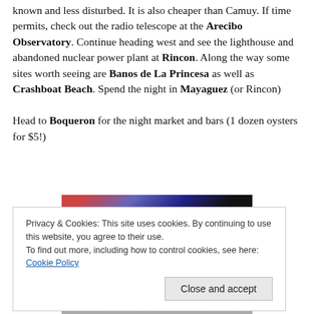known and less disturbed. It is also cheaper than Camuy. If time permits, check out the radio telescope at the Arecibo Observatory. Continue heading west and see the lighthouse and abandoned nuclear power plant at Rincon. Along the way some sites worth seeing are Banos de La Princesa as well as Crashboat Beach. Spend the night in Mayaguez (or Rincon)
Head to Boqueron for the night market and bars (1 dozen oysters for $5!)
[Figure (photo): Photo showing a sign reading 'Pinchos' and colorful lights or decorations in the background, appearing to be a market or street food stall.]
Privacy & Cookies: This site uses cookies. By continuing to use this website, you agree to their use.
To find out more, including how to control cookies, see here: Cookie Policy